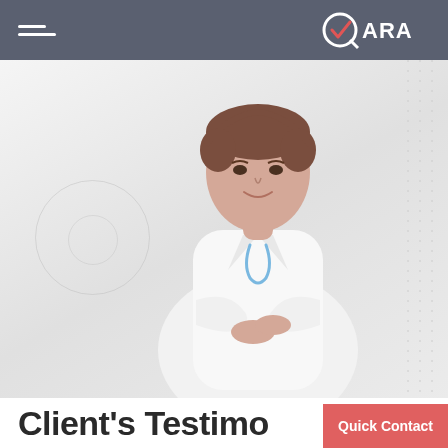QVARA
[Figure (photo): A female doctor or healthcare professional in a white coat with arms crossed, smiling, against a light background with subtle decorative elements]
Client's Testimonials
Quick Contact